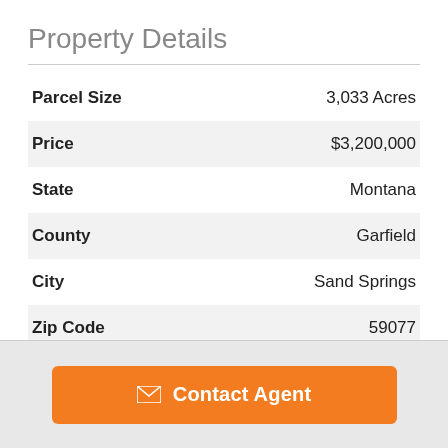Property Details
| Field | Value |
| --- | --- |
| Parcel Size | 3,033 Acres |
| Price | $3,200,000 |
| State | Montana |
| County | Garfield |
| City | Sand Springs |
| Zip Code | 59077 |
Contact Agent